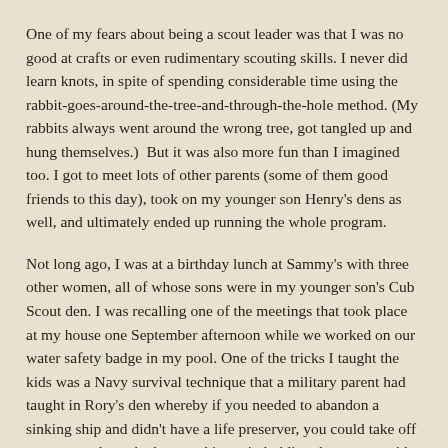One of my fears about being a scout leader was that I was no good at crafts or even rudimentary scouting skills. I never did learn knots, in spite of spending considerable time using the rabbit-goes-around-the-tree-and-through-the-hole method. (My rabbits always went around the wrong tree, got tangled up and hung themselves.)  But it was also more fun than I imagined too. I got to meet lots of other parents (some of them good friends to this day), took on my younger son Henry's dens as well, and ultimately ended up running the whole program.
Not long ago, I was at a birthday lunch at Sammy's with three other women, all of whose sons were in my younger son's Cub Scout den. I was recalling one of the meetings that took place at my house one September afternoon while we worked on our water safety badge in my pool. One of the tricks I taught the kids was a Navy survival technique that a military parent had taught in Rory's den whereby if you needed to abandon a sinking ship and didn't have a life preserver, you could take off your pants, knot the legs, and jump in holding the pants upside down over your head. The pants would fill with air as you jumped and voila, instant life preserver. I thought they would think this was